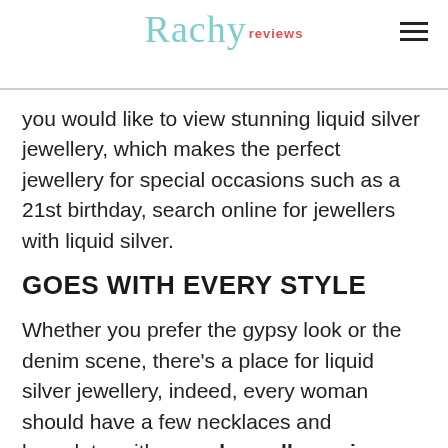Rachy Reviews
you would like to view stunning liquid silver jewellery, which makes the perfect jewellery for special occasions such as a 21st birthday, search online for jewellers with liquid silver.
GOES WITH EVERY STYLE
Whether you prefer the gypsy look or the denim scene, there's a place for liquid silver jewellery, indeed, every woman should have a few necklaces and bracelets, with some hypoallergenic